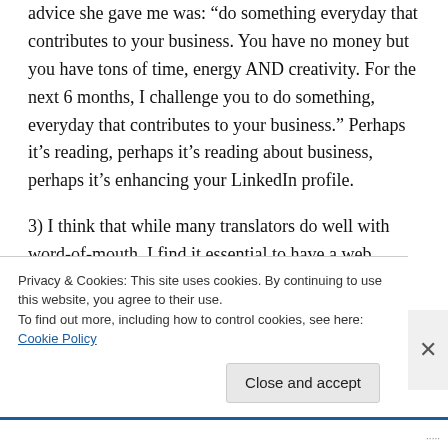advice she gave me was: “do something everyday that contributes to your business. You have no money but you have tons of time, energy AND creativity. For the next 6 months, I challenge you to do something, everyday that contributes to your business.” Perhaps it’s reading, perhaps it’s reading about business, perhaps it’s enhancing your LinkedIn profile.
3) I think that while many translators do well with word-of-mouth, I find it essential to have a web
Privacy & Cookies: This site uses cookies. By continuing to use this website, you agree to their use.
To find out more, including how to control cookies, see here: Cookie Policy